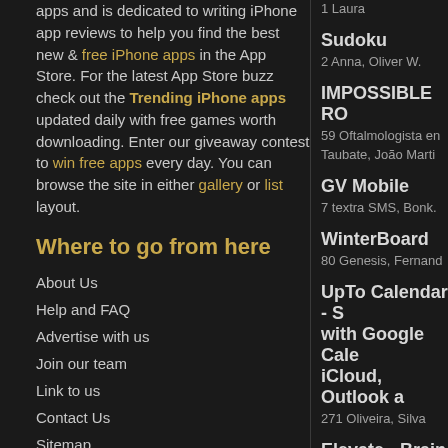apps and is dedicated to writing iPhone app reviews to help you find the best new & free iPhone apps in the App Store. For the latest App Store buzz check out the Trending iPhone apps updated daily with free games worth downloading. Enter our giveaway contest to win free apps every day. You can browse the site in either gallery or list layout.
Where to go from here
About Us
Help and FAQ
Advertise with us
Join our team
Link to us
Contact Us
Sitemap
More from AppSafari
Got mail? Subscribe to AppSafari by Email. Watch funny and interesting
1 Laura
Sudoku
2 Anna, Oliver W.
IMPOSSIBLE RO
59 Oftalmologista en Taubate, João Marti
GV Mobile
7 textra SMS, Bonk.
WinterBoard
80 Genesis, Fernand
UpTo Calendar - with Google Cale iCloud, Outlook a
271 Oliveira, Silva
Elevate - Brain Tr
63 fernando, Edileuz
Chocohero
10 Patricia, Supere a Ansiedade
Fancy Pants Adv